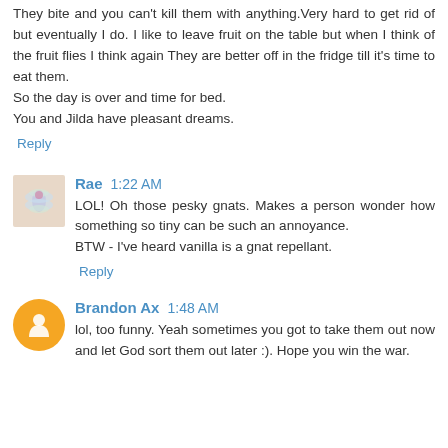They bite and you can't kill them with anything.Very hard to get rid of but eventually I do. I like to leave fruit on the table but when I think of the fruit flies I think again They are better off in the fridge till it's time to eat them.
So the day is over and time for bed.
You and Jilda have pleasant dreams.
Reply
Rae  1:22 AM
LOL! Oh those pesky gnats. Makes a person wonder how something so tiny can be such an annoyance.
BTW - I've heard vanilla is a gnat repellant.
Reply
Brandon Ax  1:48 AM
lol, too funny. Yeah sometimes you got to take them out now and let God sort them out later :). Hope you win the war.